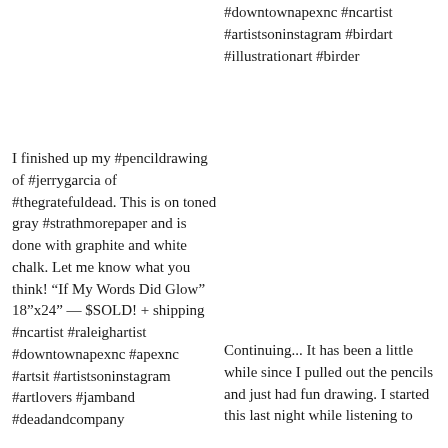#downtownapexnc #ncartist #artistsoninstagram #birdart #illustrationart #birder
I finished up my #pencildrawing of #jerrygarcia of #thegratefuldead. This is on toned gray #strathmorepaper and is done with graphite and white chalk. Let me know what you think! “If My Words Did Glow” 18”x24” — $SOLD! + shipping #ncartist #raleighartist #downtownapexnc #apexnc #artsit #artistsoninstagram #artlovers #jamband #deadandcompany
Continuing... It has been a little while since I pulled out the pencils and just had fun drawing. I started this last night while listening to